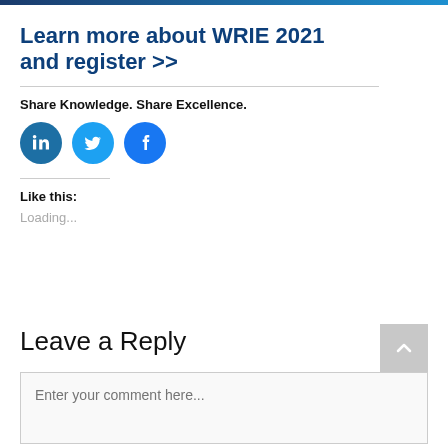Learn more about WRIE 2021 and register >>
Share Knowledge. Share Excellence.
[Figure (illustration): Three social media icon buttons: LinkedIn (dark blue circle), Twitter (light blue circle), Facebook (blue circle)]
Like this:
Loading...
Leave a Reply
Enter your comment here...